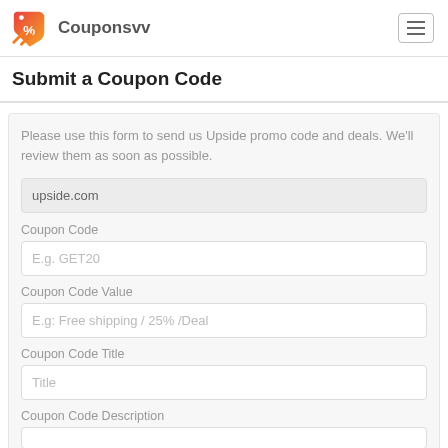Couponsvv
Submit a Coupon Code
Please use this form to send us Upside promo code and deals. We'll review them as soon as possible.
upside.com
Coupon Code
E.g. GET20
Coupon Code Value
E.g: Free shipping / 25% /Deal
Coupon Code Title
Title
Coupon Code Description